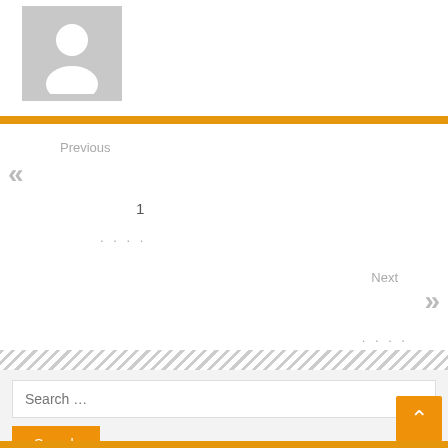[Figure (illustration): Generic user avatar placeholder — gray square with white silhouette of a person (circle head, rounded shoulders)]
Previous
«
1
....
Next
»
....
Search ...
Search